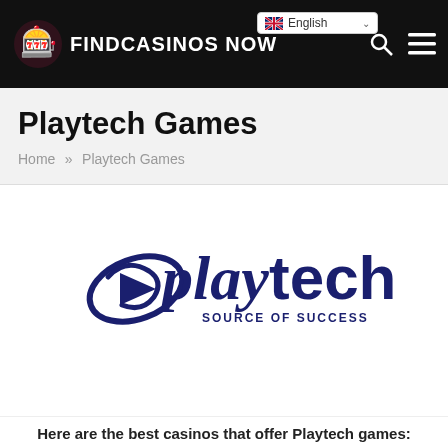FINDCASINOSNOW
Playtech Games
Home » Playtech Games
[Figure (logo): Playtech logo with text 'playtech SOURCE OF SUCCESS' in dark navy blue, featuring a stylized play-button swirl icon]
Here are the best casinos that offer Playtech games: